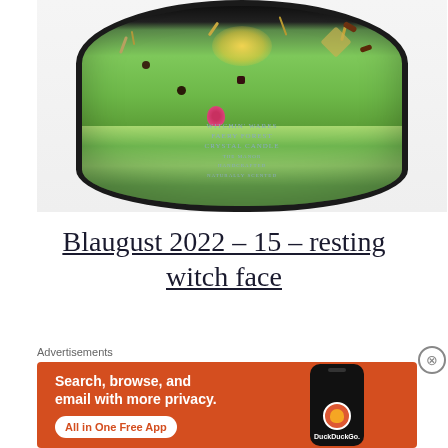[Figure (photo): Top-down view of a green glittery crystal candle with herbs, dried flowers, cloves, and spices embedded on the surface. The candle has a black rim and a label reading 'WITCHIN' WARES FAERY FOREST CRYSTAL CANDLE'.]
Blaugust 2022 – 15 – resting witch face
Advertisements
[Figure (screenshot): DuckDuckGo advertisement banner with orange background. Text reads: 'Search, browse, and email with more privacy. All in One Free App'. Shows a phone with DuckDuckGo app and logo.]